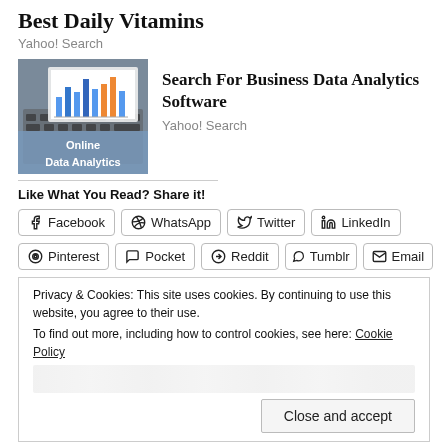Best Daily Vitamins
Yahoo! Search
[Figure (photo): Laptop with data analytics charts on screen, with text overlay 'Online Data Analytics']
Search For Business Data Analytics Software
Yahoo! Search
Like What You Read? Share it!
Facebook
WhatsApp
Twitter
LinkedIn
Pinterest
Pocket
Reddit
Tumblr
Email
Privacy & Cookies: This site uses cookies. By continuing to use this website, you agree to their use. To find out more, including how to control cookies, see here: Cookie Policy
Close and accept
26 bloggers like this.